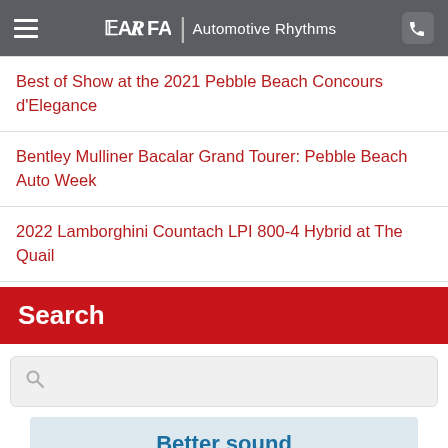FAR | Automotive Rhythms
Best of Show at the 2021 Pebble Beach Concours d'Elegance
Bentley Mulliner Bacalar Grand Tourer: Pebble Beach Auto Week
2022 Lamborghini Countach LPI 800-4 Hybrid at The Quail
Search
[Search input field]
[Figure (other): Advertisement banner with text 'Better sound with Bose']